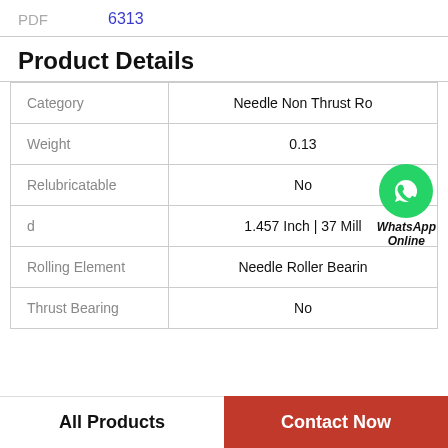PDF   6313
Product Details
|  |  |
| --- | --- |
| Category | Needle Non Thrust Ro |
| Weight | 0.13 |
| Relubricatable | No |
| d | 1.457 Inch | 37 Mill |
| Rolling Element | Needle Roller Bearin |
| Thrust Bearing | No |
[Figure (logo): WhatsApp Online green circle icon with phone handset, labeled WhatsApp Online]
All Products   Contact Now